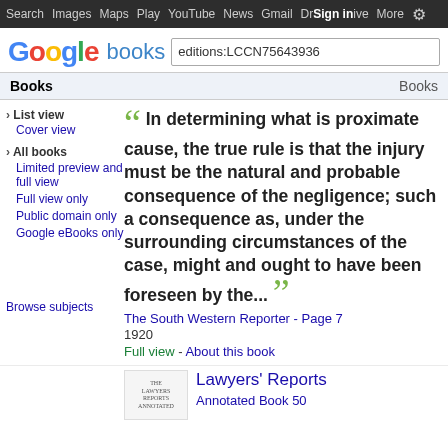Search  Images  Maps  Play  YouTube  News  Gmail  Drive  More  Sign in  [settings]
[Figure (logo): Google books logo with search box containing 'editions:LCCN75643936']
Books | Books
› List view
Cover view
› All books
Limited preview and full view
Full view only
Public domain only
Google eBooks only
“ In determining what is proximate cause, the true rule is that the injury must be the natural and probable consequence of the negligence; such a consequence as, under the surrounding circumstances of the case, might and ought to have been foreseen by the... ”
The South Western Reporter - Page 7
1920
Full view - About this book
Browse subjects
Lawyers' Reports Annotated Book 50